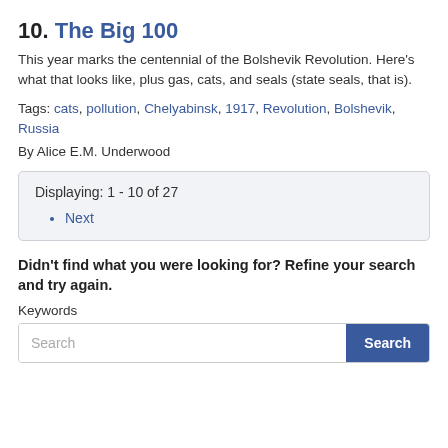10. The Big 100
This year marks the centennial of the Bolshevik Revolution. Here's what that looks like, plus gas, cats, and seals (state seals, that is).
Tags: cats, pollution, Chelyabinsk, 1917, Revolution, Bolshevik, Russia
By Alice E.M. Underwood
Displaying: 1 - 10 of 27
Next
Didn't find what you were looking for? Refine your search and try again.
Keywords
Search